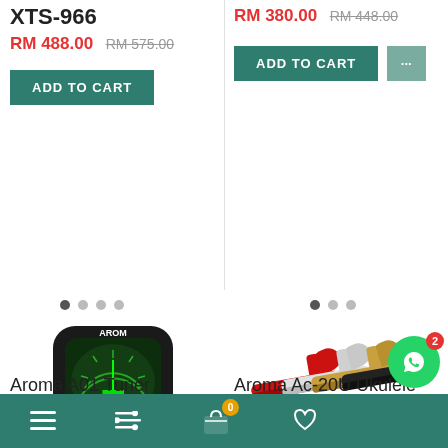XTS-966
RM 488.00  RM 575.00
ADD TO CART
RM 380.00  RM 448.00
ADD TO CART ...
[Figure (photo): Aroma AT-01A clip-on chromatic guitar tuner showing 'E' note on green display]
[Figure (photo): Aroma Ac-20U Ukulele Capo in four colors: red, white, gold, black]
Aroma A01 Tuner
RM 17.00
Aroma Ac-20U Ukulele Capo
RM 33.00
Navigation bar with menu, filter, cart (0), wishlist, and WhatsApp (2) icons